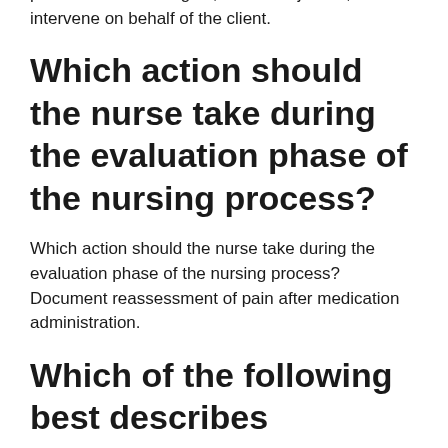protect the client's rights, remain objective, and intervene on behalf of the client.
Which action should the nurse take during the evaluation phase of the nursing process?
Which action should the nurse take during the evaluation phase of the nursing process? Document reassessment of pain after medication administration.
Which of the following best describes advocacy?
Advocacy is defined as any action that